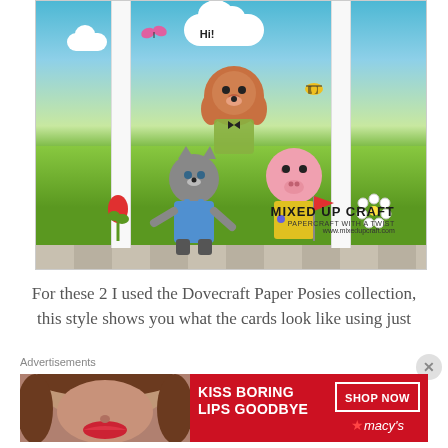[Figure (photo): Handmade greeting cards standing on a wooden surface. Cards feature colorful background with sky and grass, with cute animal characters (dog, cat, pig) and flowers. Watermark reads MIXED UP CRAFT, PAPERCRAFT WITH A TWIST, www.mixedupcraft.com]
For these 2 I used the Dovecraft Paper Posies collection, this style shows you what the cards look like using just
Advertisements
[Figure (photo): Advertisement banner: KISS BORING LIPS GOODBYE with photo of woman with red lips, SHOP NOW button, and macys logo]